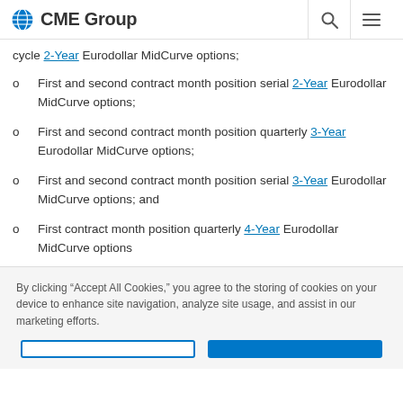CME Group
cycle 2-Year Eurodollar MidCurve options;
First and second contract month position serial 2-Year Eurodollar MidCurve options;
First and second contract month position quarterly 3-Year Eurodollar MidCurve options;
First and second contract month position serial 3-Year Eurodollar MidCurve options; and
First contract month position quarterly 4-Year Eurodollar MidCurve options
By clicking “Accept All Cookies,” you agree to the storing of cookies on your device to enhance site navigation, analyze site usage, and assist in our marketing efforts.